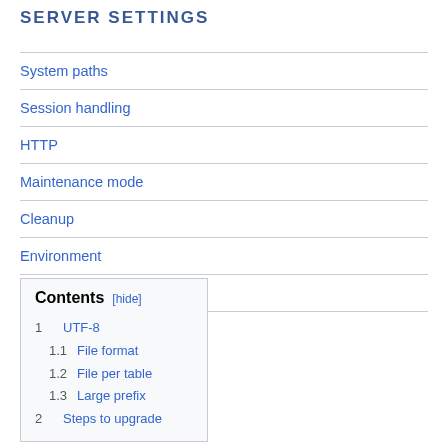SERVER SETTINGS
System paths
Session handling
HTTP
Maintenance mode
Cleanup
Environment
Site registration
Contents [hide]
1   UTF-8
1.1   File format
1.2   File per table
1.3   Large prefix
2   Steps to upgrade